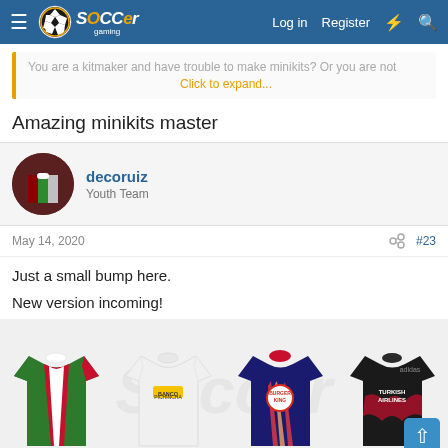Soccer Gaming — Log in  Register
You are a kitmaker and have trouble to make minikits? Or you are not Click to expand...
Amazing minikits master
decoruiz
Youth Team
May 14, 2020  #23
Just a small bump here.
New version incoming!
[Figure (photo): Four football jerseys: Fluminense green/red stripes, LDU white with Banco Pichincha sponsor, Burger King dark blue/multicolor, River Plate black with Turkish Airlines sponsor]